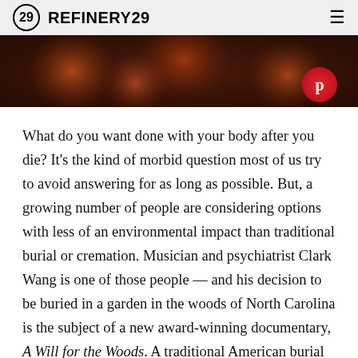REFINERY29
[Figure (photo): Dark reddish-brown blurred bokeh background image with warm circular light orbs, used as a hero/banner image for the article.]
What do you want done with your body after you die? It’s the kind of morbid question most of us try to avoid answering for as long as possible. But, a growing number of people are considering options with less of an environmental impact than traditional burial or cremation. Musician and psychiatrist Clark Wang is one of those people — and his decision to be buried in a garden in the woods of North Carolina is the subject of a new award-winning documentary, A Will for the Woods. A traditional American burial is a complicated affair. The body of the deceased is embalmed with formaldehyde-based fluid to stave off decomposition and create a more “natural”